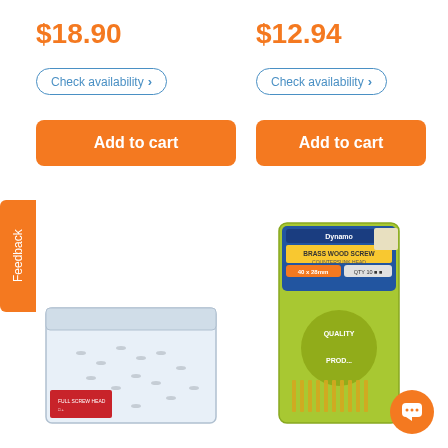$18.90
$12.94
Check availability >
Check availability >
Add to cart
Add to cart
Feedback
[Figure (photo): Clear plastic box container filled with silver screws, product label on side]
[Figure (photo): Green packaged brass wood screws product, 40x28mm size, with quality product badge]